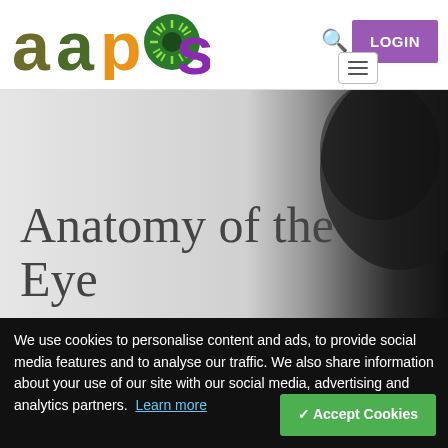[Figure (logo): AAPOS logo with colorful letters: dark olive 'a', dark olive 'a', orange/gold 'p', green sunburst 'o', purple 's']
LOGIN
[Figure (photo): Hero banner with text 'Anatomy of the Eye' overlaid on a light grey to dark gradient background with a close-up of a human eye visible on the right side]
Anatomy of the Eye
We use cookies to personalise content and ads, to provide social media features and to analyse our traffic. We also share information about your use of our site with our social media, advertising and analytics partners.  Learn more
✓ Accept Cookies